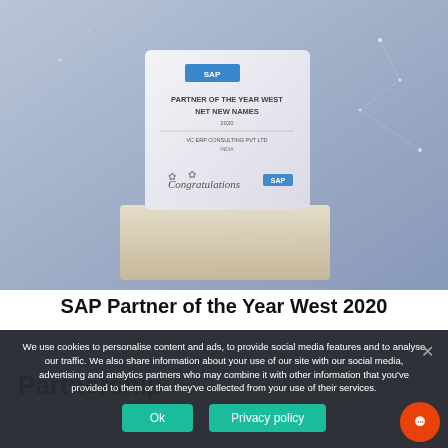[Figure (photo): SAP award trophy on wooden base with text 'PARTNER OF THE YEAR WEST NET NEW NAMES 2020 VC ERP CONSULTING PVT LTD INDIA' and 'Congratulations' with SAP logo, set against a blue-gray starry background]
SAP Partner of the Year West 2020
Partnership
We use cookies to personalise content and ads, to provide social media features and to analyse our traffic. We also share information about your use of our site with our social media, advertising and analytics partners who may combine it with other information that you've provided to them or that they've collected from your use of their services.